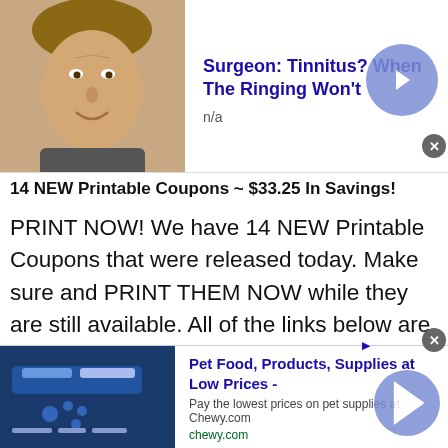[Figure (advertisement): Top ad banner with photo of a person's face and title: Surgeon: Tinnitus? When The Ringing Won't, n/a. Blue arrow button on right, close X button.]
14 NEW Printable Coupons ~ $33.25 In Savings!
PRINT NOW! We have 14 NEW Printable Coupons that were released today. Make sure and PRINT THEM NOW while they are still available. All of the links below are MOBILE Friendly Direct links that will clip the coupon or coupons for you! If you are having trouble printing from your phone make… Read more
[Figure (advertisement): Bottom ad banner: Pet Food, Products, Supplies at Low Prices - Pay the lowest prices on pet supplies at Chewy.com, chewy.com. Blue arrow button on right, close X button and AdChoices icon.]